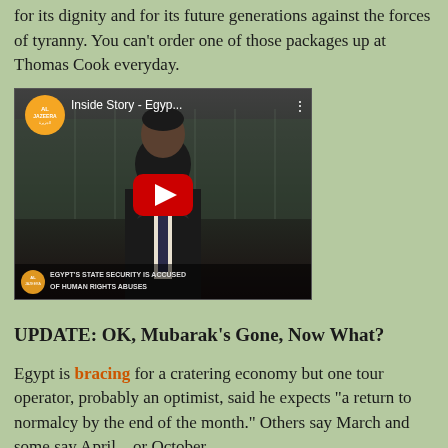for its dignity and for its future generations against the forces of tyranny. You can't order one of those packages up at Thomas Cook everyday.
[Figure (screenshot): Al Jazeera YouTube video thumbnail showing 'Inside Story - Egyp...' with a man in a suit and text 'EGYPT'S STATE SECURITY IS ACCUSED OF HUMAN RIGHTS ABUSES' at the bottom. A red YouTube play button is visible in the center.]
UPDATE: OK, Mubarak's Gone, Now What?
Egypt is bracing for a cratering economy but one tour operator, probably an optimist, said he expects "a return to normalcy by the end of the month." Others say March and some say April... or October.